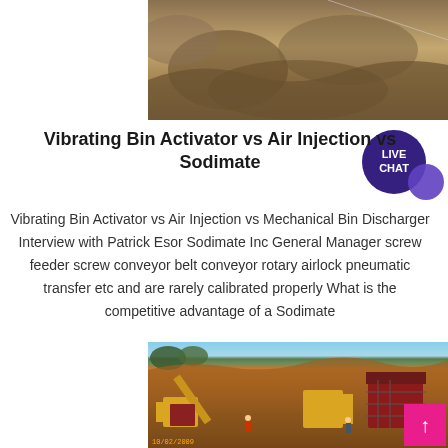[Figure (photo): Top partial photo of excavated rocky/sandy soil terrain, cropped at top of page]
Vibrating Bin Activator vs Air Injection vs Sodimate
Vibrating Bin Activator vs Air Injection vs Mechanical Bin Discharger Interview with Patrick Esor Sodimate Inc General Manager screw feeder screw conveyor belt conveyor rotary airlock pneumatic transfer etc and are rarely calibrated properly What is the competitive advantage of a Sodimate
[Figure (photo): Mining or quarrying site with yellow and red heavy machinery, conveyor belt, workers, and red/brown hillside terrain with trees in background. Date stamp visible: 10/02/2009]